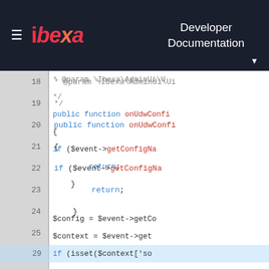Ibexa Developer Documentation
[Figure (screenshot): PHP code snippet in a dark-themed developer documentation site showing lines 18-37 of a PHP class method onUdwConfig with syntax highlighting. Lines 29-31 are highlighted in blue.]